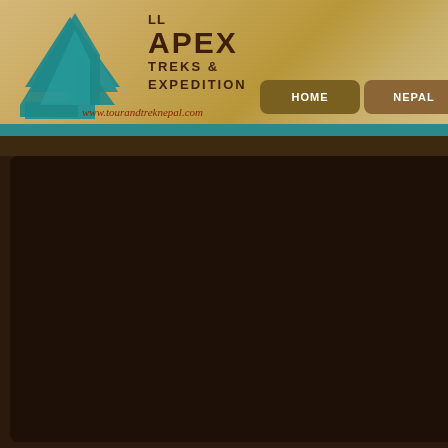[Figure (logo): All Apex Treks & Expedition logo with teal mountain/arrow graphic and company name]
www.tourandtreknepal.com  HOME  NEPAL  TIBET